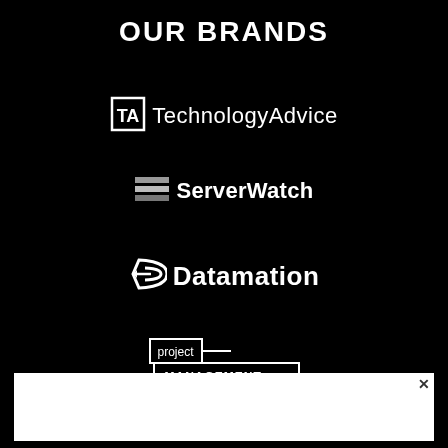OUR BRANDS
[Figure (logo): TechnologyAdvice logo — square TA icon followed by text 'TechnologyAdvice' in white on black]
[Figure (logo): ServerWatch logo — stacked lines icon followed by text 'ServerWatch' in white on black]
[Figure (logo): Datamation logo — stylized D arrow icon followed by text 'Datamation' in white on black]
[Figure (logo): project-management.com logo — 'project' in a small box connected with dash to 'MANAGEMENT.com' in a larger outlined box, white on black]
[Figure (screenshot): White popup/modal banner at the bottom of the page with an X close button in the top-right corner]